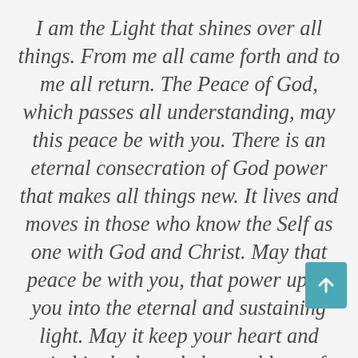I am the Light that shines over all things. From me all came forth and to me all return. The Peace of God, which passes all understanding, may this peace be with you. There is an eternal consecration of God power that makes all things new. It lives and moves in those who know the Self as one with God and Christ. May that peace be with you, that power uplift you into the eternal and sustaining light. May it keep your heart and mind in the knowledge and love of God and of his children, the Cosmic Christ. May the Holy Blessings of God be with our heart, mind and spirit. All aspects of our body fully